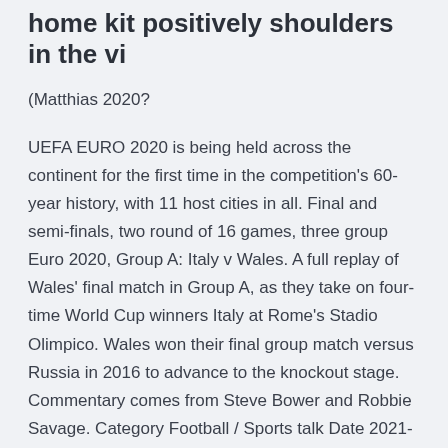home kit positively shoulders in the vi
(Matthias 2020?
UEFA EURO 2020 is being held across the continent for the first time in the competition's 60-year history, with 11 host cities in all. Final and semi-finals, two round of 16 games, three group Euro 2020, Group A: Italy v Wales. A full replay of Wales' final match in Group A, as they take on four-time World Cup winners Italy at Rome's Stadio Olimpico. Wales won their final group match versus Russia in 2016 to advance to the knockout stage. Commentary comes from Steve Bower and Robbie Savage. Category Football / Sports talk Date 2021-06-21 Why is Euro 2020 being played in multiple countries?
Enjoy our Lounge experience at the opening match...